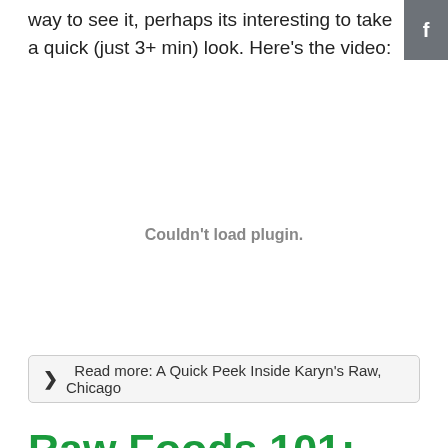way to see it, perhaps its interesting to take a quick (just 3+ min) look. Here's the video:
[Figure (other): Video plugin area showing 'Couldn't load plugin.' message]
❯  Read more: A Quick Peek Inside Karyn's Raw, Chicago
Raw Foods 101: Why Should You Soak Nuts Before Eating Them?